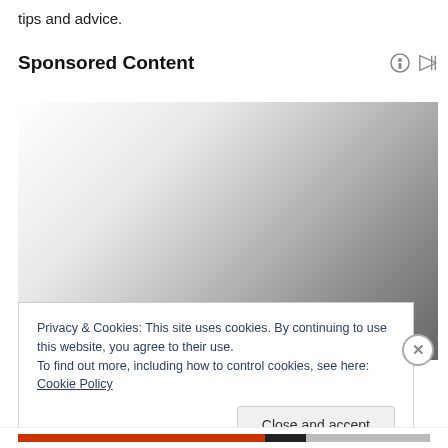tips and advice.
Sponsored Content
[Figure (other): Sponsored content advertisement image area with gradient background (white to dark gray)]
Privacy & Cookies: This site uses cookies. By continuing to use this website, you agree to their use.
To find out more, including how to control cookies, see here: Cookie Policy
Close and accept